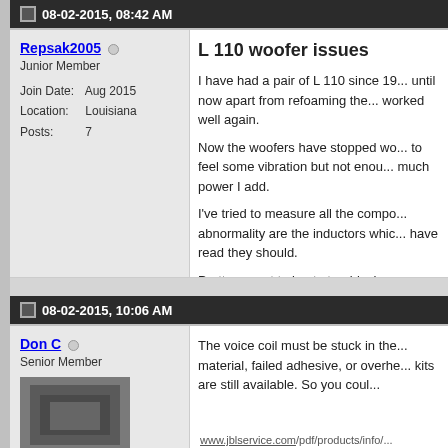08-02-2015, 08:42 AM
Repsak2005
Junior Member
Join Date: Aug 2015
Location: Louisiana
Posts: 7
L 110 woofer issues
I have had a pair of L 110 since 19... until now apart from refoaming the... worked well again.
Now the woofers have stopped wo... to feel some vibration but not enou... much power I add.
I've tried to measure all the compo... abnormality are the inductors whic... have read they should.
Pretty new at trying to troubleshoo... welcome.
Carsten
08-02-2015, 10:06 AM
Don C
Senior Member
The voice coil must be stuck in the... material, failed adhesive, or overhe... kits are still available. So you coul...